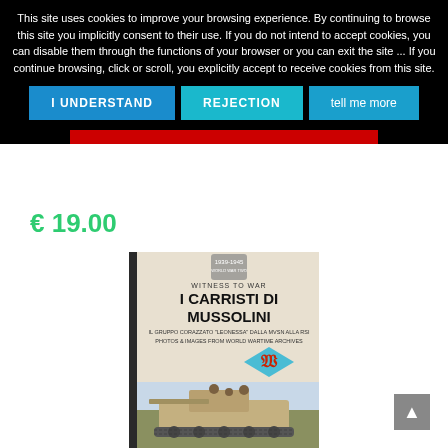This site uses cookies to improve your browsing experience. By continuing to browse this site you implicitly consent to their use. If you do not intend to accept cookies, you can disable them through the functions of your browser or you can exit the site ... If you continue browsing, click or scroll, you explicitly accept to receive cookies from this site.
I UNDERSTAND   REJECTION   tell me more
€ 19.00
[Figure (photo): Book cover: 'I Carristi di Mussolini' - Witness to War series, showing a WWII Italian tank with soldiers, with a diamond-shaped unit insignia]